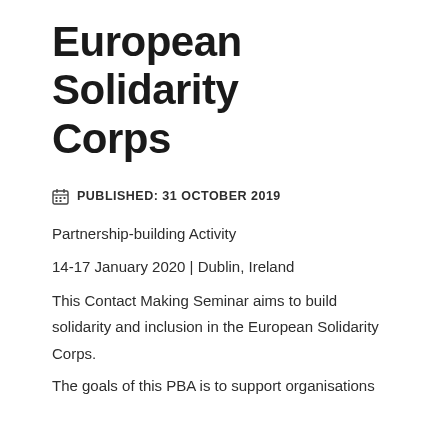European Solidarity Corps
PUBLISHED: 31 OCTOBER 2019
Partnership-building Activity
14-17 January 2020 | Dublin, Ireland
This Contact Making Seminar aims to build solidarity and inclusion in the European Solidarity Corps.
The goals of this PBA is to support organisations...